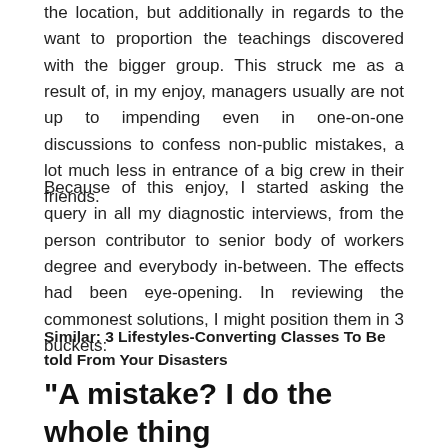the location, but additionally in regards to the want to proportion the teachings discovered with the bigger group. This struck me as a result of, in my enjoy, managers usually are not up to impending even in one-on-one discussions to confess non-public mistakes, a lot much less in entrance of a big crew in their friends.
Because of this enjoy, I started asking the query in all my diagnostic interviews, from the person contributor to senior body of workers degree and everybody in-between. The effects had been eye-opening. In reviewing the commonest solutions, I might position them in 3 buckets:
Similar: 3 Lifestyles-Converting Classes To Be told From Your Disasters
“A mistake? I do the whole thing I will to cover it. We are living in